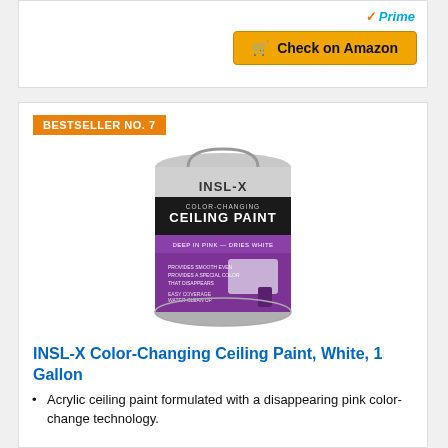[Figure (infographic): Prime badge with orange checkmark and blue text, and an orange 'Check on Amazon' button with a cart icon]
BESTSELLER NO. 7
[Figure (photo): INSL-X Color-Changing Ceiling Paint can, 1 gallon, with purple label and product imagery]
INSL-X Color-Changing Ceiling Paint, White, 1 Gallon
Acrylic ceiling paint formulated with a disappearing pink color-change technology.